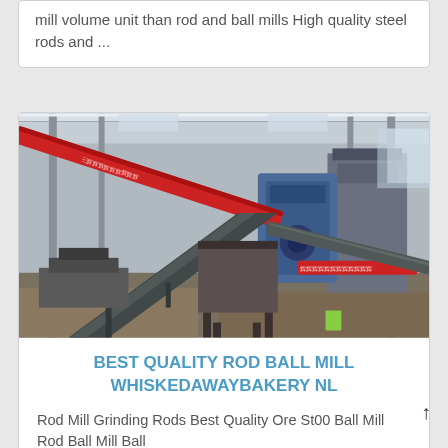mill volume unit than rod and ball mills High quality steel rods and ...
[Figure (photo): Industrial grinding mill facility with conveyor belts, machinery, and overhead crane structures inside a large warehouse]
BEST QUALITY ROD BALL MILL WHISKEDAWAYBAKERY NL
Rod Mill Grinding Rods Best Quality Ore St00 Ball Mill Rod Ball Mill Ball